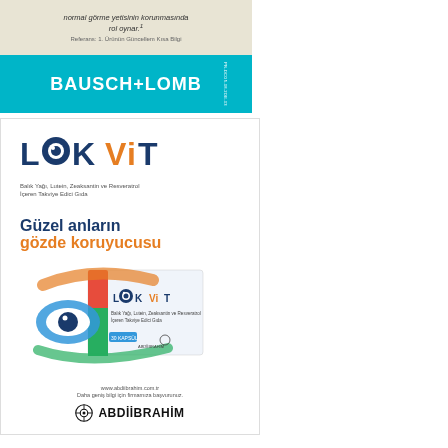[Figure (illustration): Bausch+Lomb advertisement with beige top section containing italic text 'normal görme yetisinin korunmasında rol oynar.¹' and reference line, and teal bottom section with white Bausch+Lomb logo and vertical code text]
[Figure (illustration): LookVit advertisement featuring LookVit logo (Look in dark blue, Vit in orange), subtitle 'Balık Yağı, Lutein, Zeaksantin ve Resveratrol İçeren Takviye Edici Gıda', slogan 'Güzel anların gözde koruyucusu', product box image of LookVit supplement, website www.abdiibrahim.com.tr, tagline 'Daha geniş bilgi için firmamıza başvurunuz.' and Abdi İbrahim logo]